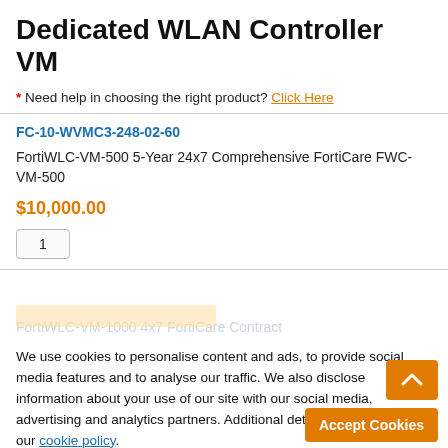Dedicated WLAN Controller VM
* Need help in choosing the right product? Click Here
FC-10-WVMC3-248-02-60
FortiWLC-VM-500 5-Year 24x7 Comprehensive FortiCare FWC-VM-500
$10,000.00
1
We use cookies to personalise content and ads, to provide social media features and to analyse our traffic. We also disclose information about your use of our site with our social media, advertising and analytics partners. Additional details are available in our cookie policy.
FortiWLC-VM-1000 4x7 FortiCare Contract
FC-10-WVMC4-248-02-12
FortiWLC-VM-1000 1-Year 24x7 Comprehensive FortiCare
Accept Cookies